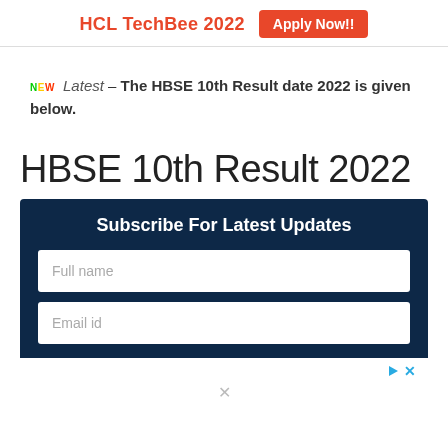HCL TechBee 2022  Apply Now!!
NEW Latest – The HBSE 10th Result date 2022 is given below.
HBSE 10th Result 2022
Subscribe For Latest Updates
Full name
Email id